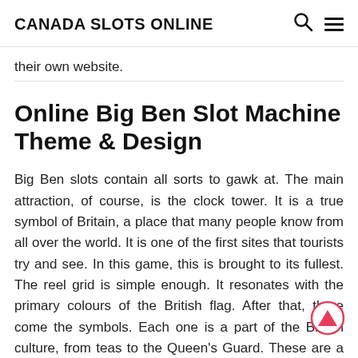CANADA SLOTS ONLINE
their own website.
Online Big Ben Slot Machine Theme & Design
Big Ben slots contain all sorts to gawk at. The main attraction, of course, is the clock tower. It is a true symbol of Britain, a place that many people know from all over the world. It is one of the first sites that tourists try and see. In this game, this is brought to its fullest. The reel grid is simple enough. It resonates with the primary colours of the British flag. After that, there come the symbols. Each one is a part of the British culture, from teas to the Queen's Guard. These are a type of things you will see when you come and